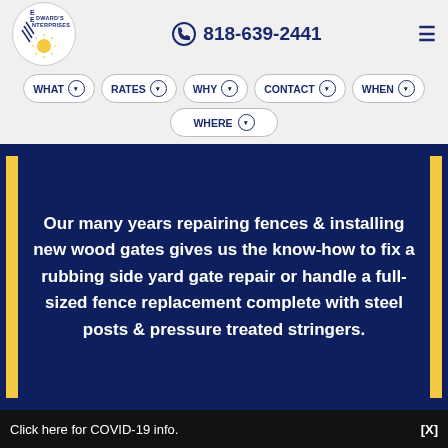[Figure (logo): Edward's Enterprises logo — circular white badge with dark navy text and diagonal stripe lines, sun graphic at bottom]
818-639-2441
WHAT
RATES
WHY
CONTACT
WHEN
WHERE
Our many years repairing fences & installing new wood gates gives us the know-how to fix a rubbing side yard gate repair or handle a full-sized fence replacement complete with steel posts & pressure treated stringers.
Click here for COVID-19 info.                                                   [X]